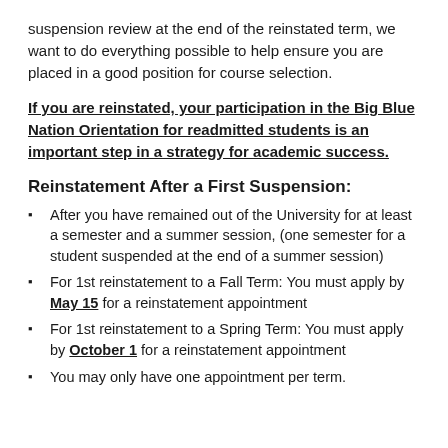suspension review at the end of the reinstated term, we want to do everything possible to help ensure you are placed in a good position for course selection.
If you are reinstated, your participation in the Big Blue Nation Orientation for readmitted students is an important step in a strategy for academic success.
Reinstatement After a First Suspension:
After you have remained out of the University for at least a semester and a summer session, (one semester for a student suspended at the end of a summer session)
For 1st reinstatement to a Fall Term: You must apply by May 15 for a reinstatement appointment
For 1st reinstatement to a Spring Term: You must apply by October 1 for a reinstatement appointment
You may only have one appointment per term.